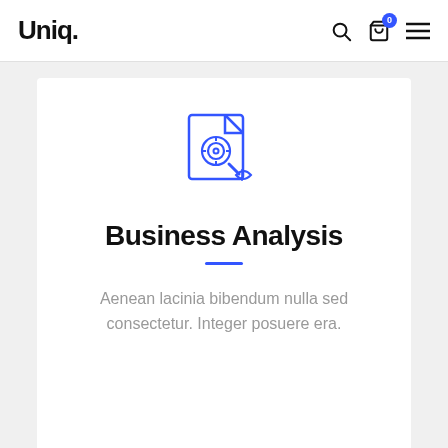Uniq.
[Figure (illustration): Blue line-art icon of a document/target crosshair with a magnifying glass and leaf, representing business analysis]
Business Analysis
Aenean lacinia bibendum nulla sed consectetur. Integer posuere era.